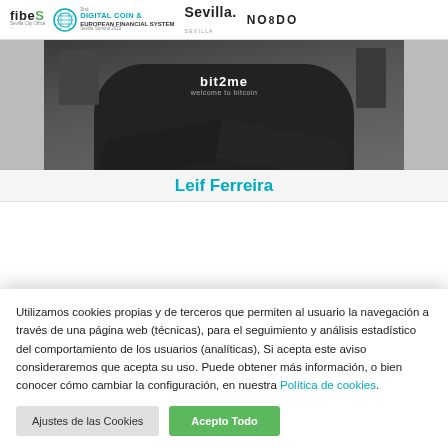fibeS | 2nd Digital Coin & European Financial System | Sevilla. | NO8DO
[Figure (photo): Person wearing a black 'bit2me welcome to bitcoin' t-shirt with arms crossed, standing in front of computers]
Leif Ferreira
Utilizamos cookies propias y de terceros que permiten al usuario la navegación a través de una página web (técnicas), para el seguimiento y análisis estadístico del comportamiento de los usuarios (analíticas), Si acepta este aviso consideraremos que acepta su uso. Puede obtener más información, o bien conocer cómo cambiar la configuración, en nuestra Política de cookies.
Ajustes de las Cookies | Acepto Todo